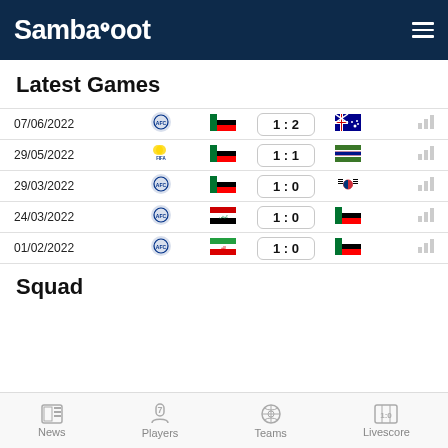Sambafoot
Latest Games
| Date | Competition | Team1 | Score | Team2 | Stats |
| --- | --- | --- | --- | --- | --- |
| 07/06/2022 | AFC | UAE | 1 : 2 | Australia |  |
| 29/05/2022 | FIFA | UAE | 1 : 1 | Gambia |  |
| 29/03/2022 | AFC | UAE | 1 : 0 | South Korea |  |
| 24/03/2022 | AFC | Iraq | 1 : 0 | UAE |  |
| 01/02/2022 | AFC | Iran | 1 : 0 | UAE |  |
Squad
News  Players  Teams  Livescore